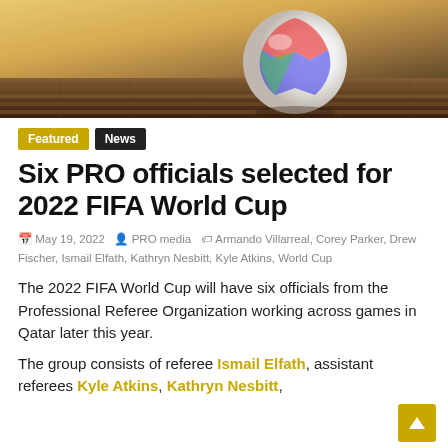[Figure (photo): Close-up photo of a soccer/football with colorful design on a wooden surface with warm sunset lighting in background]
Featured   News
Six PRO officials selected for 2022 FIFA World Cup
May 19, 2022   PRO media   Armando Villarreal, Corey Parker, Drew Fischer, Ismail Elfath, Kathryn Nesbitt, Kyle Atkins, World Cup
The 2022 FIFA World Cup will have six officials from the Professional Referee Organization working across games in Qatar later this year.
The group consists of referee Ismail Elfath, assistant referees Kyle Atkins, Kathryn Nesbitt,